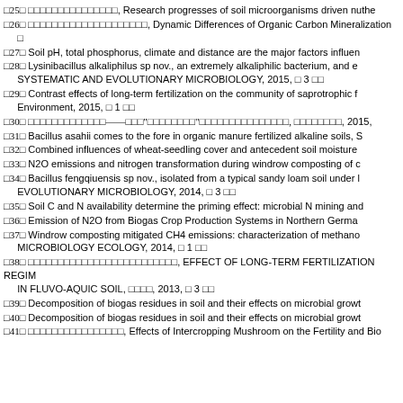□25□ □□□□□□□□□□□□□□□, Research progresses of soil microorganisms driven nuthe
□26□ □□□□□□□□□□□□□□□□□□□□, Dynamic Differences of Organic Carbon Mineralization □
□27□ Soil pH, total phosphorus, climate and distance are the major factors influen
□28□ Lysinibacillus alkaliphilus sp nov., an extremely alkaliphilic bacterium, and e SYSTEMATIC AND EVOLUTIONARY MICROBIOLOGY, 2015, □ 3 □□
□29□ Contrast effects of long-term fertilization on the community of saprotrophic f Environment, 2015, □ 1 □□
□30□ □□□□□□□□□□□□□——□□□"□□□□□□□□"□□□□□□□□□□□□□□□, □□□□□□□□, 2015,
□31□ Bacillus asahii comes to the fore in organic manure fertilized alkaline soils, S
□32□ Combined influences of wheat-seedling cover and antecedent soil moisture
□33□ N2O emissions and nitrogen transformation during windrow composting of c
□34□ Bacillus fengqiuensis sp nov., isolated from a typical sandy loam soil under l EVOLUTIONARY MICROBIOLOGY, 2014, □ 3 □□
□35□ Soil C and N availability determine the priming effect: microbial N mining and
□36□ Emission of N2O from Biogas Crop Production Systems in Northern Germa
□37□ Windrow composting mitigated CH4 emissions: characterization of methano MICROBIOLOGY ECOLOGY, 2014, □ 1 □□
□38□ □□□□□□□□□□□□□□□□□□□□□□□□□, EFFECT OF LONG-TERM FERTILIZATION REGIM IN FLUVO-AQUIC SOIL, □□□□, 2013, □ 3 □□
□39□ Decomposition of biogas residues in soil and their effects on microbial growt
□40□ Decomposition of biogas residues in soil and their effects on microbial growt
□41□ □□□□□□□□□□□□□□□□, Effects of Intercropping Mushroom on the Fertility and Bio